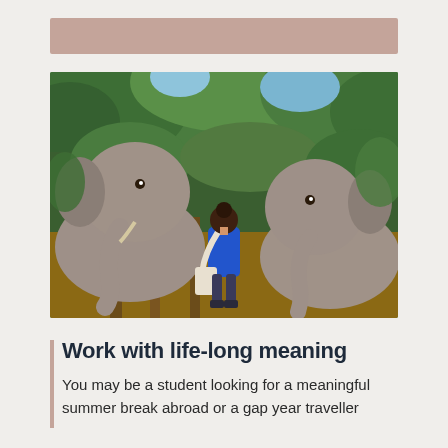[Figure (photo): Decorative header bar in muted rose/mauve color]
[Figure (photo): A woman in a blue top with a white bag stands between two large elephants at a sanctuary, surrounded by lush green jungle foliage. She appears to be feeding or interacting with the elephants near a wooden platform structure.]
Work with life-long meaning
You may be a student looking for a meaningful summer break abroad or a gap year traveller